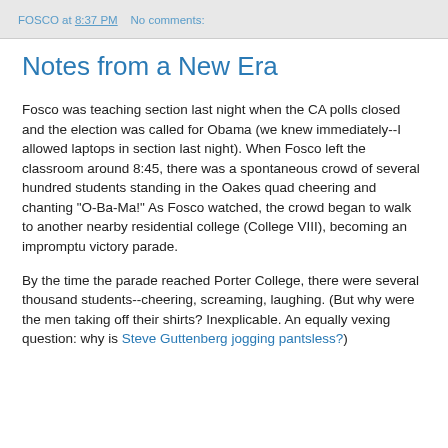FOSCO at 8:37 PM    No comments:
Notes from a New Era
Fosco was teaching section last night when the CA polls closed and the election was called for Obama (we knew immediately--I allowed laptops in section last night). When Fosco left the classroom around 8:45, there was a spontaneous crowd of several hundred students standing in the Oakes quad cheering and chanting "O-Ba-Ma!" As Fosco watched, the crowd began to walk to another nearby residential college (College VIII), becoming an impromptu victory parade.
By the time the parade reached Porter College, there were several thousand students--cheering, screaming, laughing. (But why were the men taking off their shirts? Inexplicable. An equally vexing question: why is Steve Guttenberg jogging pantsless?)